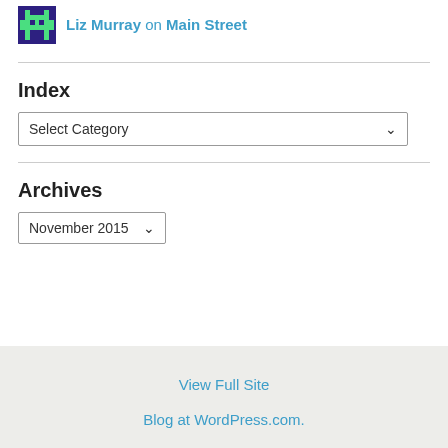Liz Murray on Main Street
Index
Select Category
Archives
November 2015
View Full Site
Blog at WordPress.com.